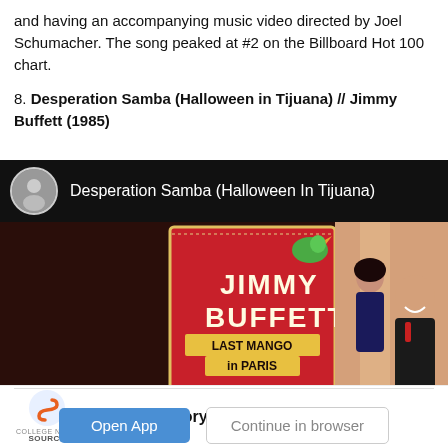and having an accompanying music video directed by Joel Schumacher. The song peaked at #2 on the Billboard Hot 100 chart.
8. Desperation Samba (Halloween in Tijuana) // Jimmy Buffett (1985)
[Figure (screenshot): YouTube-style video thumbnail showing 'Desperation Samba (Halloween In Tijuana)' by Jimmy Buffett. The header shows a circular artist avatar on the left and the song title in white text on a dark background. Below is a movie-style thumbnail with Jimmy Buffett album art ('Last Mango in Paris') on the left and a party scene on the right.]
Read this story in The Source App...
Open App | Continue in browser